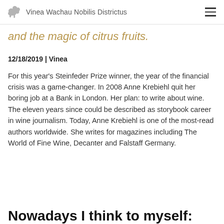Vinea Wachau Nobilis Districtus
and the magic of citrus fruits.
12/18/2019 | Vinea
For this year's Steinfeder Prize winner, the year of the financial crisis was a game-changer. In 2008 Anne Krebiehl quit her boring job at a Bank in London. Her plan: to write about wine. The eleven years since could be described as storybook career in wine journalism. Today, Anne Krebiehl is one of the most-read authors worldwide. She writes for magazines including The World of Fine Wine, Decanter and Falstaff Germany.
Nowadays I think to myself: